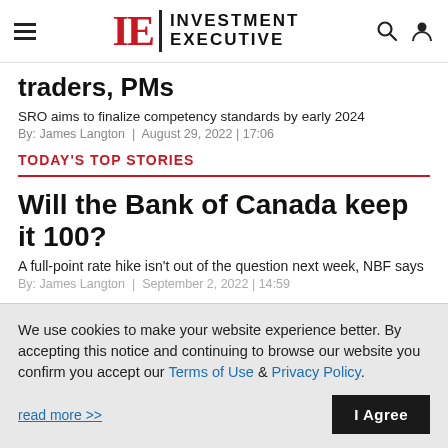IE INVESTMENT EXECUTIVE
traders, PMs
SRO aims to finalize competency standards by early 2024
By: James Langton | August 29, 2022 | 17:06
TODAY'S TOP STORIES
Will the Bank of Canada keep it 100?
A full-point rate hike isn't out of the question next week, NBF says
By: James Langton | September 2, 2022 | 14:59
We use cookies to make your website experience better. By accepting this notice and continuing to browse our website you confirm you accept our Terms of Use & Privacy Policy.
read more >>
I Agree